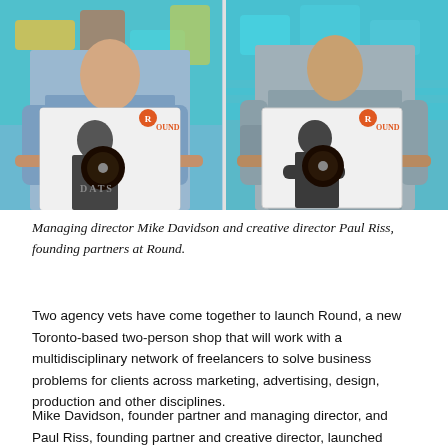[Figure (photo): Two men standing in front of a colorful graffiti wall, each holding a vinyl record album sleeve featuring the Round agency branding. Left man wears a blue shirt; right man wears a grey shirt. The record sleeve shows a person in grayscale with an orange Round logo.]
Managing director Mike Davidson and creative director Paul Riss, founding partners at Round.
Two agency vets have come together to launch Round, a new Toronto-based two-person shop that will work with a multidisciplinary network of freelancers to solve business problems for clients across marketing, advertising, design, production and other disciplines.
Mike Davidson, founder partner and managing director, and Paul Riss, founding partner and creative director, launched Round earlier